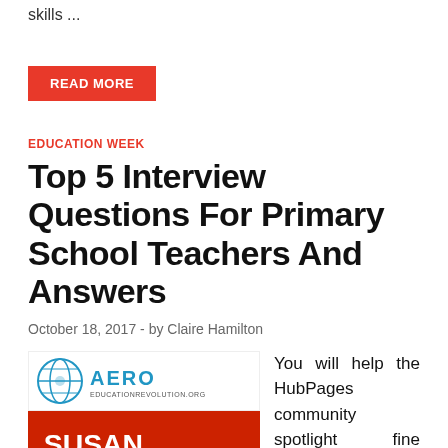skills ...
READ MORE
EDUCATION WEEK
Top 5 Interview Questions For Primary School Teachers And Answers
October 18, 2017  -  by Claire Hamilton
[Figure (logo): AERO logo with globe icon and text EDUCATIONREVOLUTION.ORG]
[Figure (photo): Susan Sarandon red background banner]
You will help the HubPages community spotlight fine quality content